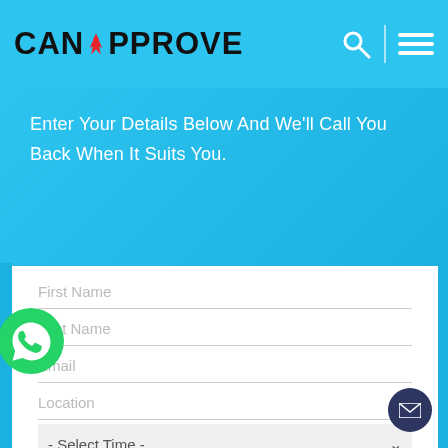CanApprove
Enter Your Details Below And We'll Call You Back When It Suits You.
[Figure (screenshot): Web form with fields: First Name, Last Name, Email, Location, Select Time dropdown, Country of Interest dropdown. WhatsApp floating icon on left. Email button bottom right.]